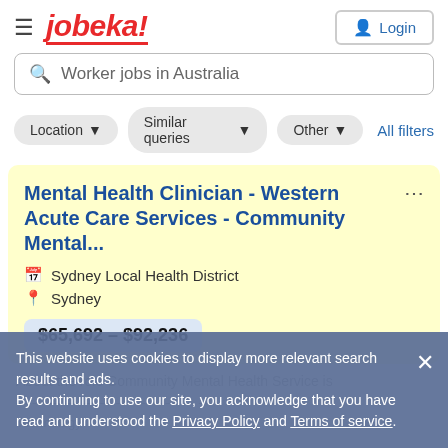[Figure (logo): Jobeka job search website logo in red italic bold text with red underline, hamburger menu icon on left, login button on right]
Worker jobs in Australia
Location ▼
Similar queries ▼
Other ▼
All filters
Mental Health Clinician - Western Acute Care Services - Community Mental...
Sydney Local Health District
Sydney
$65,692 – $92,236
About the role Community Mental Health Service is
This website uses cookies to display more relevant search results and ads.
By continuing to use our site, you acknowledge that you have read and understood the Privacy Policy and Terms of service.
Social Worke...